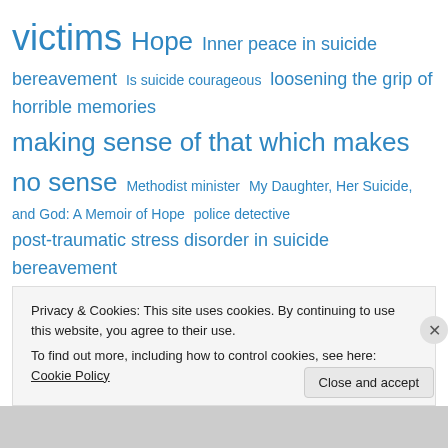victims Hope Inner peace in suicide bereavement Is suicide courageous loosening the grip of horrible memories making sense of that which makes no sense Methodist minister My Daughter, Her Suicide, and God: A Memoir of Hope police detective post-traumatic stress disorder in suicide bereavement prayer in suicide bereavement preventing suicide questioning in suicide bereavement relief remembering suicide victims Roman Catholic Church on suicide
Privacy & Cookies: This site uses cookies. By continuing to use this website, you agree to their use. To find out more, including how to control cookies, see here: Cookie Policy
Close and accept